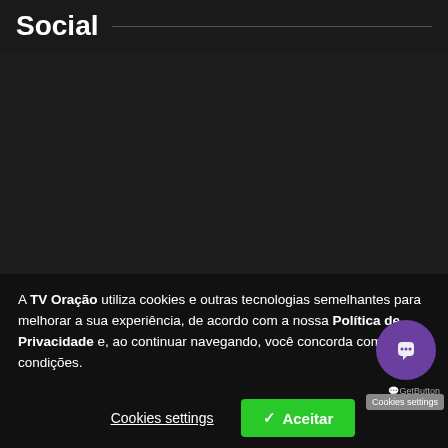Social
A TV Oração utiliza cookies e outras tecnologias semelhantes para melhorar a sua experiência, de acordo com a nossa Política de Privacidade e, ao continuar navegando, você concorda com estas condições.
© 2016-2020, TV Oração. Conteúdo protegido pela legislação brasileira sobre direito autoral. Assessoria de Imprensa: imprensa@tvoracao.com.br
Cookies settings   ✓ Aceitar